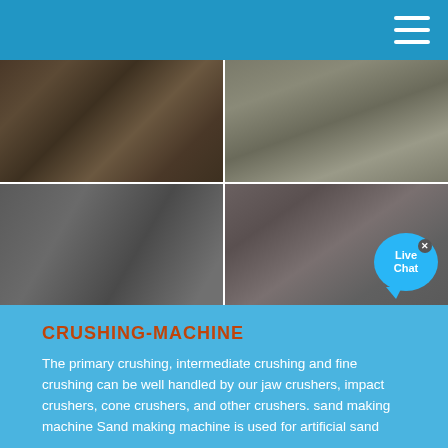[Figure (photo): Grid of four industrial photos showing crushing machines, workers operating equipment, and a large industrial facility with crushers]
CRUSHING-MACHINE
The primary crushing, intermediate crushing and fine crushing can be well handled by our jaw crushers, impact crushers, cone crushers, and other crushers. sand making machine Sand making machine is used for artificial sand